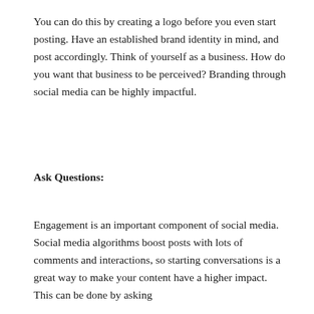You can do this by creating a logo before you even start posting. Have an established brand identity in mind, and post accordingly. Think of yourself as a business. How do you want that business to be perceived? Branding through social media can be highly impactful.
Ask Questions:
Engagement is an important component of social media. Social media algorithms boost posts with lots of comments and interactions, so starting conversations is a great way to make your content have a higher impact. This can be done by asking